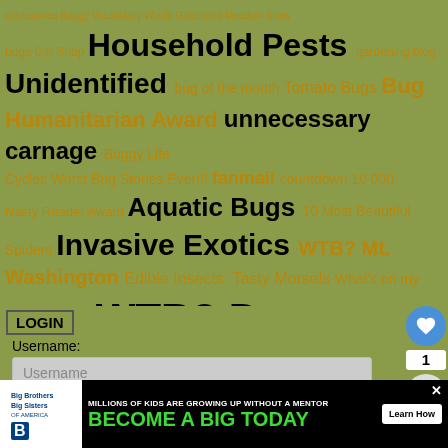[Figure (infographic): Tag cloud of bug/insect-related website categories in black and gold on olive background. Tags include: Household Pests, Unidentified, unnecessary carnage, Aquatic Bugs, Invasive Exotics, WTB? Mt. Washington, WTB? Down Under, bug love, mysteries, and many others in varying font sizes.]
LOGIN
Username:
Password:
[Figure (infographic): Big Brothers Big Sisters advertisement banner with text: MILLIONS OF KIDS ARE GROWING UP WITHOUT A MENTOR. BECOME A BIG TODAY. Learn How button.]